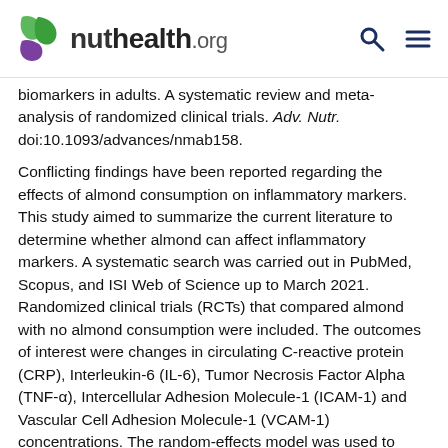nuthealth.org
biomarkers in adults. A systematic review and meta-analysis of randomized clinical trials. Adv. Nutr. doi:10.1093/advances/nmab158.
Conflicting findings have been reported regarding the effects of almond consumption on inflammatory markers. This study aimed to summarize the current literature to determine whether almond can affect inflammatory markers. A systematic search was carried out in PubMed, Scopus, and ISI Web of Science up to March 2021. Randomized clinical trials (RCTs) that compared almond with no almond consumption were included. The outcomes of interest were changes in circulating C-reactive protein (CRP), Interleukin-6 (IL-6), Tumor Necrosis Factor Alpha (TNF-α), Intercellular Adhesion Molecule-1 (ICAM-1) and Vascular Cell Adhesion Molecule-1 (VCAM-1) concentrations. The random-effects model was used to